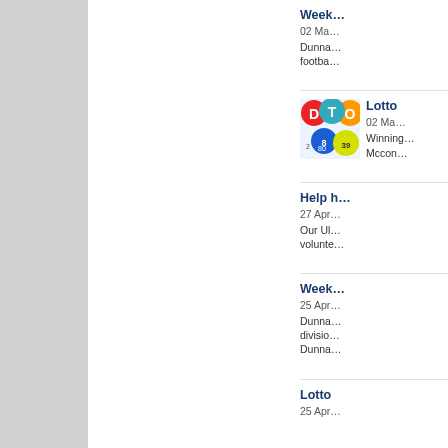Week...
02 Ma...
Dunna... footba...
[Figure (photo): Lottery balls with letters D, T, O and numbered balls 8, 80, 39]
Lotto
02 Ma...
Winning... Mccon...
Help h...
27 Apr...
Our Ul... volunte...
Week...
25 Apr...
Dunna... divisio... Dunna...
Lotto
25 Apr...